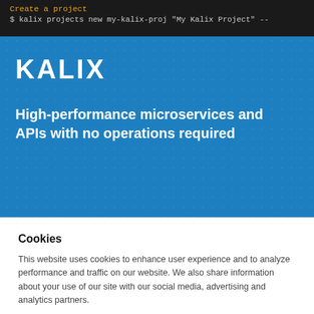[Figure (screenshot): Dark terminal/code bar at top with orange text 'Create a project' and light grey command: $ kalix projects new my-kalix-proj "My Kalix Project" --]
[Figure (screenshot): Blue hero banner with white KALIX logo and tagline text]
KALIX
High-performance microservices and APIs with no operations required
Cookies
This website uses cookies to enhance user experience and to analyze performance and traffic on our website. We also share information about your use of our site with our social media, advertising and analytics partners.
Accept Cookies
Do Not Sell My Personal Information